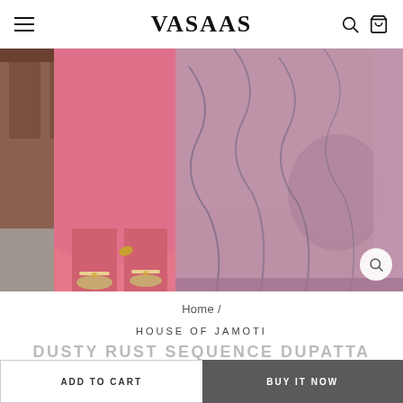VASAAS
[Figure (photo): Two women in pink Indian traditional dress (kurta set with dupatta), viewed from behind, standing on stone pavement. The woman on the left wears a solid pink kurta with matching pants, and the woman on the right displays a grey-pink printed dupatta. Both wear anklets and sandals.]
Home /
HOUSE OF JAMOTI
DUSTY RUST SEQUENCE DUPATTA KURTA SET